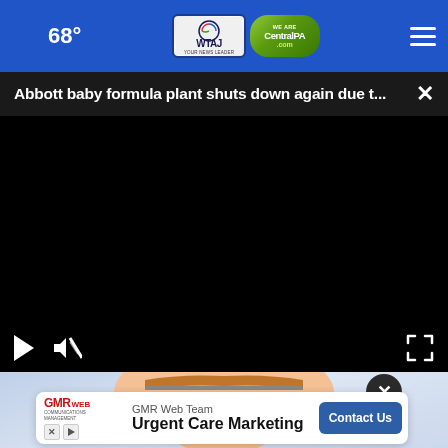68° WTAJ CentralPA.com
Abbott baby formula plant shuts down again due t... ×
[Figure (screenshot): Black video player area with play button, mute button, and fullscreen button controls at the bottom]
[Figure (illustration): Animated baby face illustration with eyes closed, lying down, with a light blue background]
[Figure (screenshot): GMR Web Team advertisement banner for Urgent Care Marketing with Contact Us button]